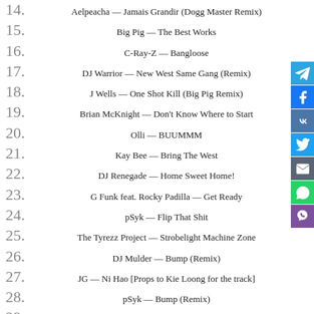14. Aelpeacha — Jamais Grandir (Dogg Master Remix)
15. Big Pig — The Best Works
16. C-Ray-Z — Bangloose
17. DJ Warrior — New West Same Gang (Remix)
18. J Wells — One Shot Kill (Big Pig Remix)
19. Brian McKnight — Don't Know Where to Start
20. Olli — BUUMMM
21. Kay Bee — Bring The West
22. DJ Renegade — Home Sweet Home!
23. G Funk feat. Rocky Padilla — Get Ready
24. pSyk — Flip That Shit
25. The Tyrezz Project — Strobelight Machine Zone
26. DJ Mulder — Bump (Remix)
27. JG — Ni Hao [Props to Kie Loong for the track]
28. pSyk — Bump (Remix)
29.